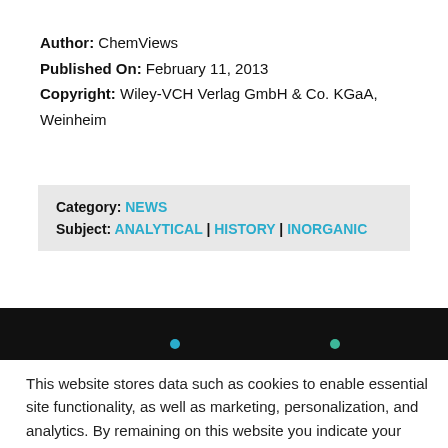Author: ChemViews
Published On: February 11, 2013
Copyright: Wiley-VCH Verlag GmbH & Co. KGaA, Weinheim
Category: NEWS
Subject: ANALYTICAL | HISTORY | INORGANIC
[Figure (screenshot): Dark band with two colored dots (blue and green) representing a slider or navigation element]
This website stores data such as cookies to enable essential site functionality, as well as marketing, personalization, and analytics. By remaining on this website you indicate your consent. Privacy Policy